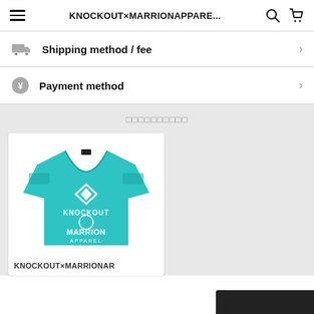KNOCKOUT×MARRIONAPPARE...
Shipping method / fee
Payment method
おすすめアイテム
[Figure (photo): Teal/cyan t-shirt with KNOCKOUT×MARRION APPAREL branding and logos on the front]
KNOCKOUT×MARRIONAR